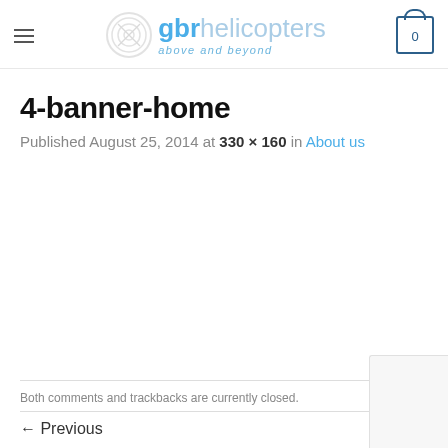gbr helicopters above and beyond
4-banner-home
Published August 25, 2014 at 330 × 160 in About us
Both comments and trackbacks are currently closed.
← Previous